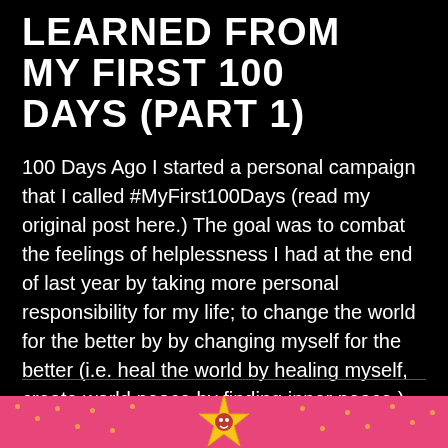LEARNED FROM MY FIRST 100 DAYS (PART 1)
100 Days Ago I started a personal campaign that I called #MyFirst100Days (read my original post here.) The goal was to combat the feelings of helplessness I had at the end of last year by taking more personal responsibility for my life; to change the world for the better by by changing myself for the better (i.e. heal the world by healing myself, create world peace by finding inner peace.) Some of the main intentions that I set and kept were these: -Yoga every day -Meditation
[Figure (illustration): Pink footer strip with yellow/gold star graphic and sparkle dot pattern]